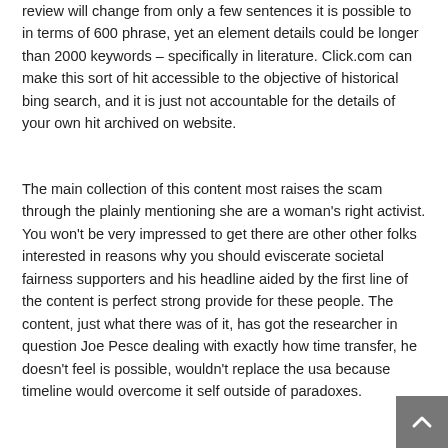review will change from only a few sentences it is possible to in terms of 600 phrase, yet an element details could be longer than 2000 keywords – specifically in literature. Click.com can make this sort of hit accessible to the objective of historical bing search, and it is just not accountable for the details of your own hit archived on website.
The main collection of this content most raises the scam through the plainly mentioning she are a woman's right activist. You won't be very impressed to get there are other other folks interested in reasons why you should eviscerate societal fairness supporters and his headline aided by the first line of the content is perfect strong provide for these people. The content, just what there was of it, has got the researcher in question Joe Pesce dealing with exactly how time transfer, he doesn't feel is possible, wouldn't replace the usa because timeline would overcome it self outside of paradoxes.